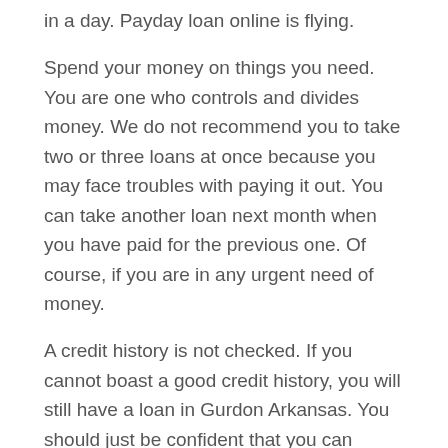in a day. Payday loan online is flying.
Spend your money on things you need. You are one who controls and divides money. We do not recommend you to take two or three loans at once because you may face troubles with paying it out. You can take another loan next month when you have paid for the previous one. Of course, if you are in any urgent need of money.
A credit history is not checked. If you cannot boast a good credit history, you will still have a loan in Gurdon Arkansas. You should just be confident that you can repay the loan, and that what lenders will ask you.
A direct lender will always support you. If you have a tough financial situation, and you are really tired to look for options to solve this situation, you should try